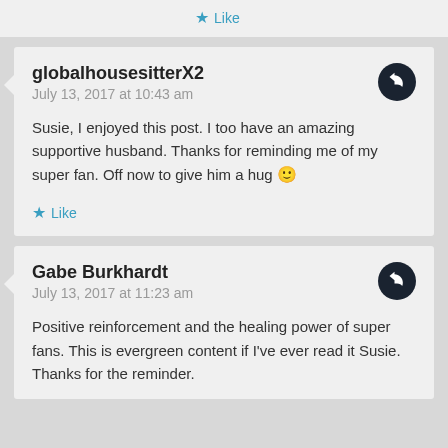Like
globalhousesitterX2
July 13, 2017 at 10:43 am
Susie, I enjoyed this post. I too have an amazing supportive husband. Thanks for reminding me of my super fan. Off now to give him a hug 🙂
Like
Gabe Burkhardt
July 13, 2017 at 11:23 am
Positive reinforcement and the healing power of super fans. This is evergreen content if I've ever read it Susie.
Thanks for the reminder.